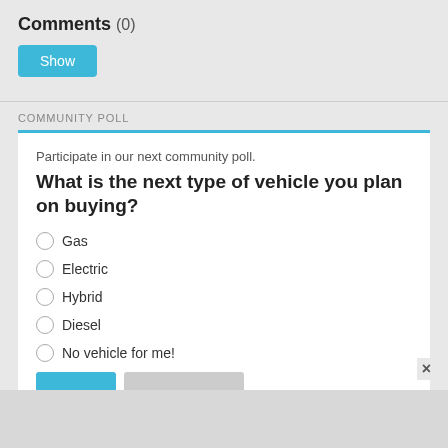Comments (0)
Show
COMMUNITY POLL
Participate in our next community poll.
What is the next type of vehicle you plan on buying?
Gas
Electric
Hybrid
Diesel
No vehicle for me!